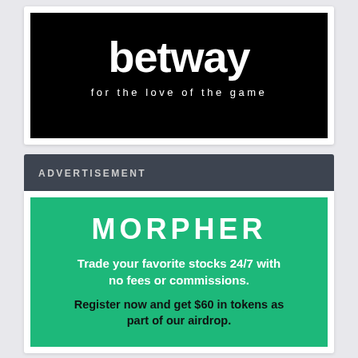[Figure (logo): Betway advertisement banner. Black background with 'betway' in large white bold text and tagline 'for the love of the game' in white spaced letters below.]
ADVERTISEMENT
[Figure (logo): Morpher advertisement. Green background with 'MORPHER' logo in white large letters. Text: 'Trade your favorite stocks 24/7 with no fees or commissions.' and 'Register now and get $60 in tokens as part of our airdrop.']